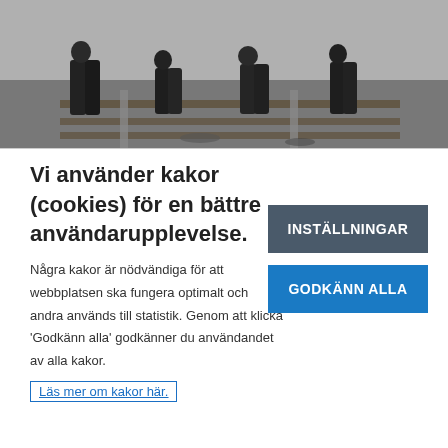[Figure (photo): Black and white historical photograph showing workers/people near railway tracks, viewed from waist down.]
Vi använder kakor (cookies) för en bättre användarupplevelse.
Några kakor är nödvändiga för att webbplatsen ska fungera optimalt och andra används till statistik. Genom att klicka 'Godkänn alla' godkänner du användandet av alla kakor.
Läs mer om kakor här.
INSTÄLLNINGAR
GODKÄNN ALLA